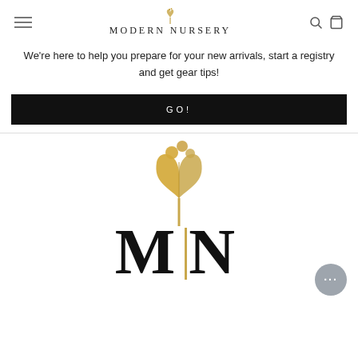[Figure (logo): Modern Nursery website header with hamburger menu, logo text with tulip icon, search and cart icons]
We're here to help you prepare for your new arrivals, start a registry and get gear tips!
GO!
[Figure (logo): Modern Nursery gold glitter tulip flower logo with large M and N letters below, chat bubble icon in bottom right]